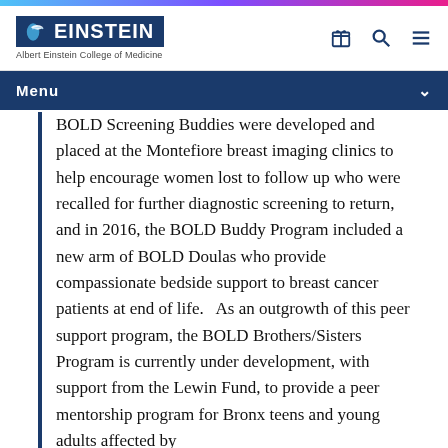EINSTEIN Albert Einstein College of Medicine
Menu
BOLD Screening Buddies were developed and placed at the Montefiore breast imaging clinics to help encourage women lost to follow up who were recalled for further diagnostic screening to return, and in 2016, the BOLD Buddy Program included a new arm of BOLD Doulas who provide compassionate bedside support to breast cancer patients at end of life.   As an outgrowth of this peer support program, the BOLD Brothers/Sisters Program is currently under development, with support from the Lewin Fund, to provide a peer mentorship program for Bronx teens and young adults affected by